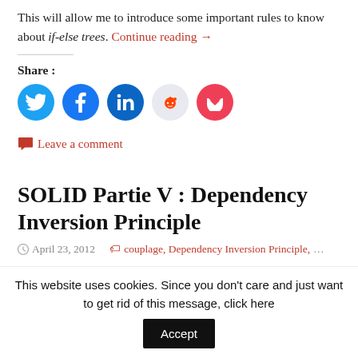This will allow me to introduce some important rules to know about if-else trees. Continue reading →
Share:
[Figure (infographic): Row of social sharing icons: Twitter (blue circle), Facebook (blue circle), LinkedIn (dark blue circle), Reddit (light grey circle), Pocket (red circle)]
Leave a comment
SOLID Partie V : Dependency Inversion Principle
April 23, 2012   couplage, Dependency Inversion Principle, DIP, Object Oriented Design, OOP, SOLID, ...
This website uses cookies. Since you don't care and just want to get rid of this message, click here  Accept